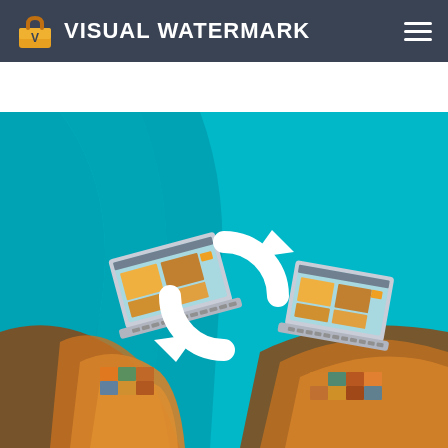VISUAL WATERMARK
[Figure (screenshot): Hero image showing two laptops with a sync/refresh icon in the center, set against a teal/turquoise background with abstract curved metallic structures and warm orange/brown reflective surfaces below. The laptops display an image editing interface with watermark functionality.]